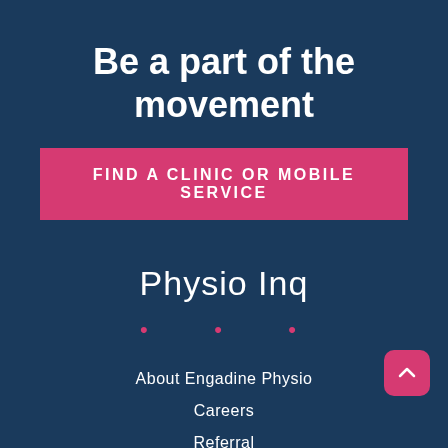Be a part of the movement
FIND A CLINIC OR MOBILE SERVICE
Physio Inq
About Engadine Physio
Careers
Referral
Contact Us
Become a Physio Inq Licensee